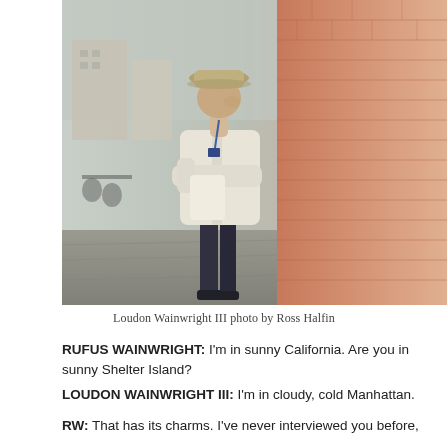[Figure (photo): A man in a cream/white blazer and hat leaning against a brick wall with arms crossed, viewed from the side, in an outdoor urban setting.]
Loudon Wainwright III photo by Ross Halfin
RUFUS WAINWRIGHT: I'm in sunny California. Are you in sunny Shelter Island?
LOUDON WAINWRIGHT III: I'm in cloudy, cold Manhattan.
RW: That has its charms. I've never interviewed you before,